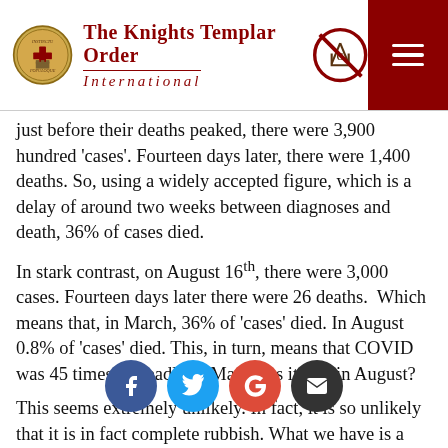The Knights Templar Order International
just before their deaths peaked, there were 3,900 hundred 'cases'. Fourteen days later, there were 1,400 deaths. So, using a widely accepted figure, which is a delay of around two weeks between diagnoses and death, 36% of cases died.
In stark contrast, on August 16th, there were 3,000 cases. Fourteen days later there were 26 deaths. Which means that, in March, 36% of 'cases' died. In August 0.8% of 'cases' died. This, in turn, means that COVID was 45 times as deadly in March, as it was in August?
This seems extremely unlikely. In fact, it is so unlikely that it is in fact complete rubbish. What we have is a combination of nonsense figures which, added together, create nonsense squared.